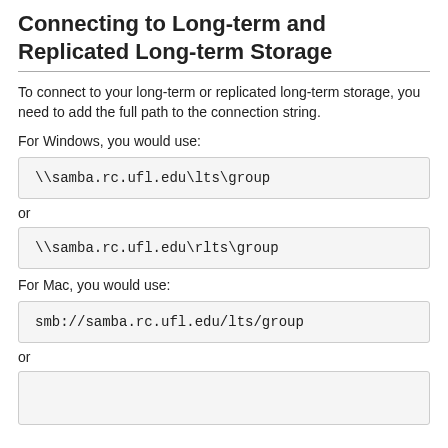Connecting to Long-term and Replicated Long-term Storage
To connect to your long-term or replicated long-term storage, you need to add the full path to the connection string.
For Windows, you would use:
\\samba.rc.ufl.edu\lts\group
or
\\samba.rc.ufl.edu\rlts\group
For Mac, you would use:
smb://samba.rc.ufl.edu/lts/group
or